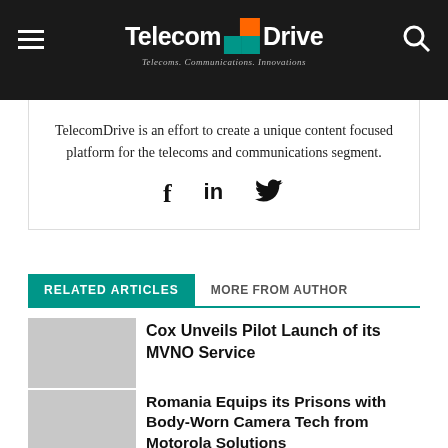TelecomDrive — Telecoms. Communications. Innovations.
TelecomDrive is an effort to create a unique content focused platform for the telecoms and communications segment.
[Figure (infographic): Social media share icons: Facebook (f), LinkedIn (in), Twitter (bird)]
RELATED ARTICLES   MORE FROM AUTHOR
Cox Unveils Pilot Launch of its MVNO Service
Romania Equips its Prisons with Body-Worn Camera Tech from Motorola Solutions